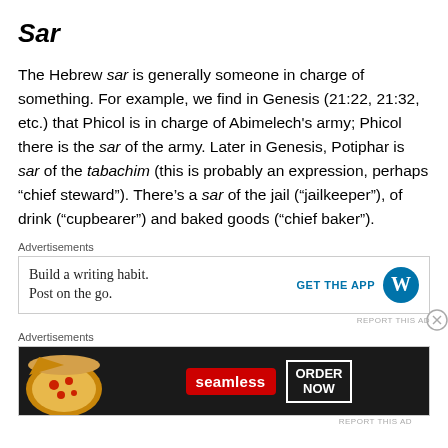Sar
The Hebrew sar is generally someone in charge of something. For example, we find in Genesis (21:22, 21:32, etc.) that Phicol is in charge of Abimelech's army; Phicol there is the sar of the army. Later in Genesis, Potiphar is sar of the tabachim (this is probably an expression, perhaps “chief steward”). There’s a sar of the jail (“jailkeeper”), of drink (“cupbearer”) and baked goods (“chief baker”).
Advertisements
[Figure (other): Advertisement banner: Build a writing habit. Post on the go. GET THE APP [WordPress logo]]
Advertisements
[Figure (other): Advertisement banner: Seamless food delivery - ORDER NOW, with pizza image]